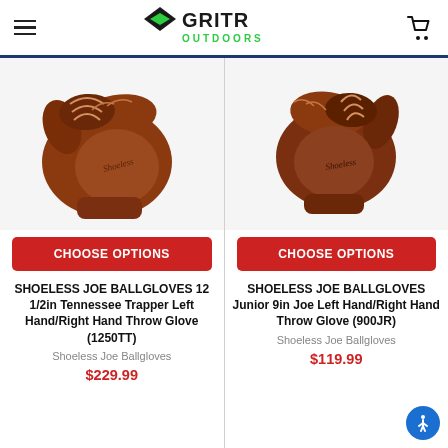GritR Outdoors
[Figure (photo): Brown leather Shoeless Joe baseball glove, left-hand/right-hand throw, product photo on white background]
CHOOSE OPTIONS
SHOELESS JOE BALLGLOVES 12 1/2in Tennessee Trapper Left Hand/Right Hand Throw Glove (1250TT)
Shoeless Joe Ballgloves
$229.99
[Figure (photo): Brown leather Shoeless Joe Junior baseball glove, 9in, left-hand/right-hand throw, product photo on white background]
CHOOSE OPTIONS
SHOELESS JOE BALLGLOVES Junior 9in Joe Left Hand/Right Hand Throw Glove (900JR)
Shoeless Joe Ballgloves
$119.99